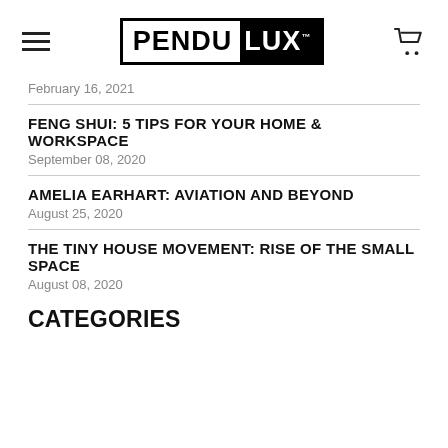[Figure (logo): PENDULUX logo: black rectangle with white PENDU text and white LUX text on black background, with trademark symbol]
February 16, 2021
FENG SHUI: 5 TIPS FOR YOUR HOME & WORKSPACE
September 08, 2020
AMELIA EARHART: AVIATION AND BEYOND
August 25, 2020
THE TINY HOUSE MOVEMENT: RISE OF THE SMALL SPACE
August 08, 2020
CATEGORIES